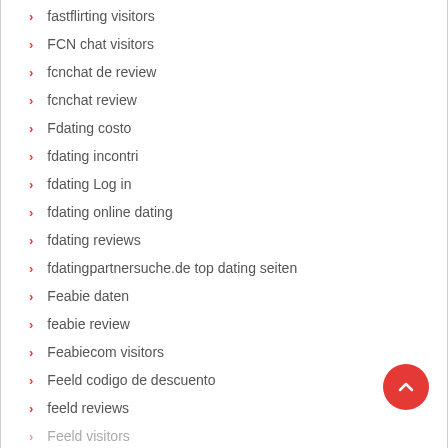fastflirting visitors
FCN chat visitors
fcnchat de review
fcnchat review
Fdating costo
fdating incontri
fdating Log in
fdating online dating
fdating reviews
fdatingpartnersuche.de top dating seiten
Feabie daten
feabie review
Feabiecom visitors
Feeld codigo de descuento
feeld reviews
Feeld visitors